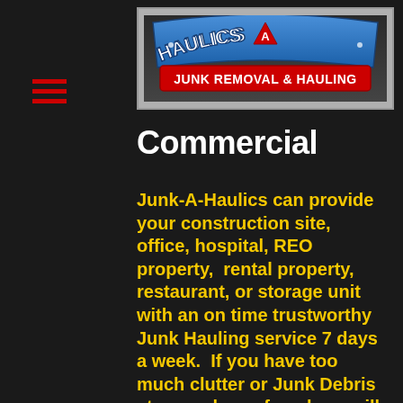[Figure (logo): Junk-A-Haulics Junk Removal & Hauling logo — arched text 'JUNK-A-HAULICS' in blue/white on dark background, with red banner 'JUNK REMOVAL & HAULING']
Commercial
Junk-A-Haulics can provide your construction site, office, hospital, REO property,  rental property, restaurant, or storage unit with an on time trustworthy Junk Hauling service 7 days a week.  If you have too much clutter or Junk Debris at your place of work we will be more than happy to help you regain your peace of mind.  We will rake, sweep or